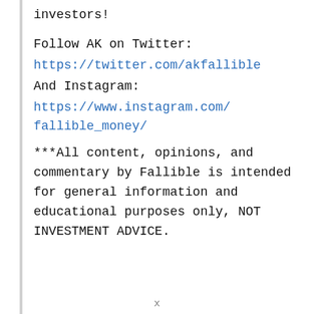investors!
Follow AK on Twitter:
https://twitter.com/akfallible
And Instagram:
https://www.instagram.com/fallible_money/
***All content, opinions, and commentary by Fallible is intended for general information and educational purposes only, NOT INVESTMENT ADVICE.